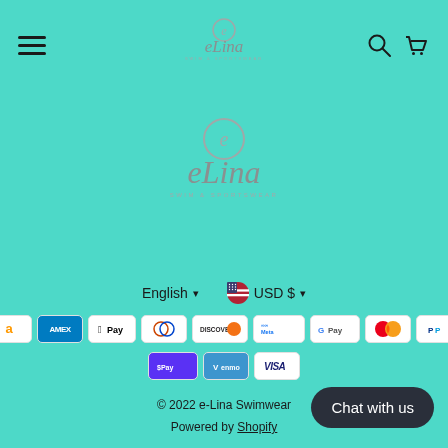[Figure (logo): eLina Swim & Sportswear logo in header navigation bar with hamburger menu, search and cart icons]
[Figure (logo): eLina Swim & Sportswear logo centered on page (larger version)]
English ∨   🇺🇸 USD $ ∨
[Figure (infographic): Payment method icons: Amazon, Amex, Apple Pay, Diners, Discover, Meta, Google Pay, Mastercard, PayPal, Shop Pay, Venmo, Visa]
© 2022 e-Lina Swimwear
Powered by Shopify
Chat with us